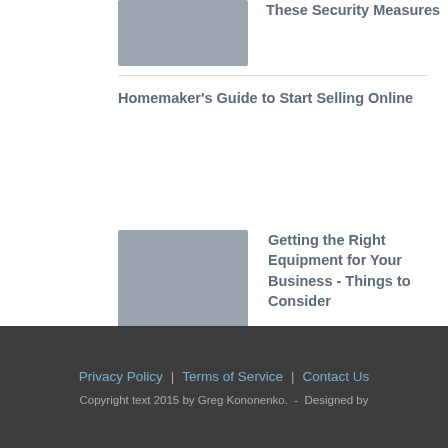[Figure (photo): Partial top image, security measures related, cropped]
[Figure (photo): Person using laptop computer, homemaker selling online]
Homemaker's Guide to Start Selling Online
[Figure (photo): Industrial equipment or kitchen equipment on counter]
Getting the Right Equipment for Your Business - Things to Consider
[Figure (photo): Construction workers in yellow vests on a project site]
Speed Up Your Construction Project with These Methods
Privacy Policy | Terms of Service | Contact Us
Copyright text 2015 by Greg Kononenko.  -  Designed by